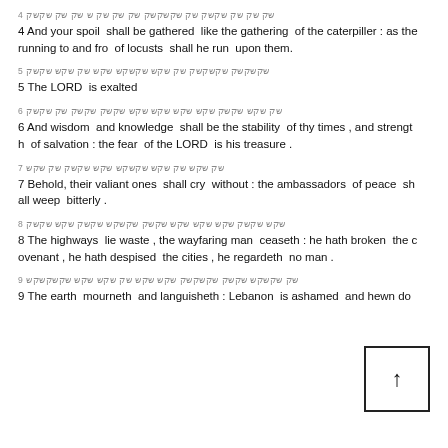4 [Hebrew text] 4 And your spoil shall be gathered like the gathering of the caterpiller : as the running to and fro of locusts shall he run upon them.
5 [Hebrew text] 5 The LORD is exalted
6 [Hebrew text] 6 And wisdom and knowledge shall be the stability of thy times , and strength of salvation : the fear of the LORD is his treasure .
7 [Hebrew text] 7 Behold, their valiant ones shall cry without : the ambassadors of peace shall weep bitterly .
8 [Hebrew text] 8 The highways lie waste , the wayfaring man ceaseth : he hath broken the covenant , he hath despised the cities , he regardeth no man .
9 [Hebrew text] 9 The earth mourneth and languisheth : Lebanon is ashamed and hewn do